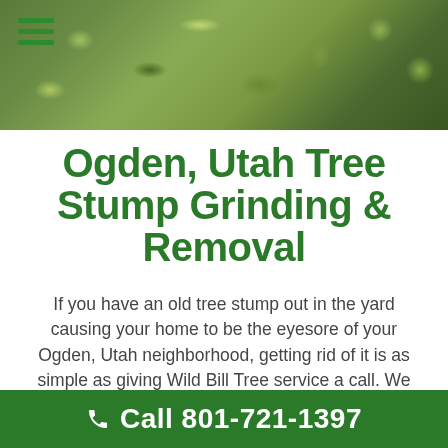[Figure (photo): Green grass and ground cover photo used as page header background]
Ogden, Utah Tree Stump Grinding & Removal
If you have an old tree stump out in the yard causing your home to be the eyesore of your Ogden, Utah neighborhood, getting rid of it is as simple as giving Wild Bill Tree service a call. We offer both expert tree stump removal and tree stump grinding services.
The reasons to take care of that old tree stu…
Call 801-721-1397